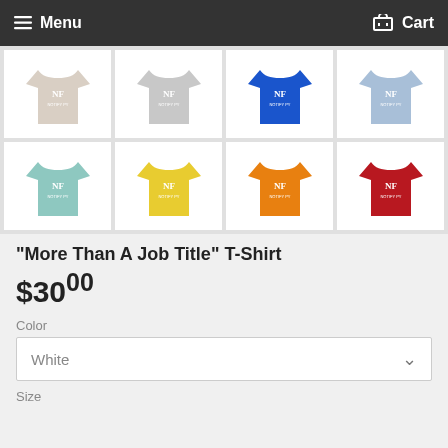Menu   Cart
[Figure (photo): Grid of 8 t-shirts in various colors (cream, light gray, royal blue, light blue in top row; light teal, yellow, orange, red in bottom row), each with NF logo in white on the chest]
"More Than A Job Title" T-Shirt
$30.00
Color
White
Size